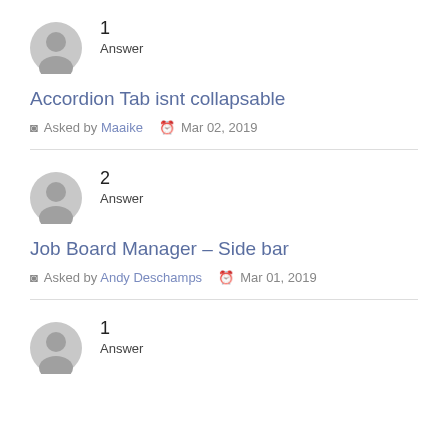1 Answer
Accordion Tab isnt collapsable
Asked by Maaike  Mar 02, 2019
2 Answer
Job Board Manager – Side bar
Asked by Andy Deschamps  Mar 01, 2019
1 Answer